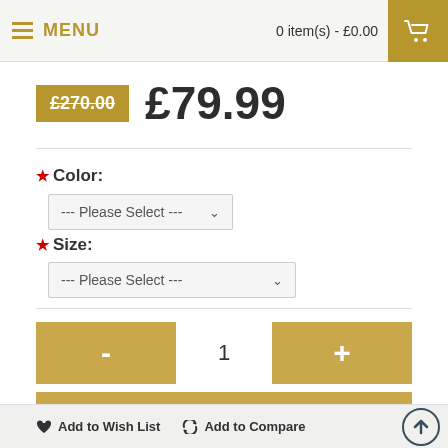MENU  0 item(s) - £0.00
£270.00  £79.99
* Color:
--- Please Select ---
* Size:
--- Please Select ---
- 1 +
ADD TO CART
♥ Add to Wish List  ↺ Add to Compare
0 reviews • Write a review